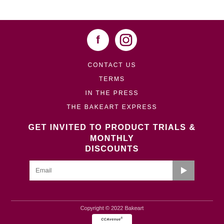[Figure (logo): Facebook and Instagram social media icons — white symbols on dark maroon circular backgrounds]
CONTACT US
TERMS
IN THE PRESS
THE BAKEART EXPRESS
GET INVITED TO PRODUCT TRIALS & MONTHLY DISCOUNTS
Email [input field with submit button]
Copyright © 2022 Bakeart
[Figure (logo): CCAvenue payment logo — white rectangle at bottom]